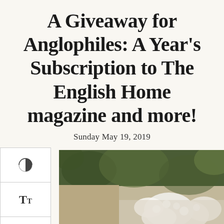A Giveaway for Anglophiles: A Year’s Subscription to The English Home magazine and more!
Sunday May 19, 2019
↪ 💬 214
[Figure (photo): Photograph showing green foliage and white flowers, partially visible at the bottom of the page]